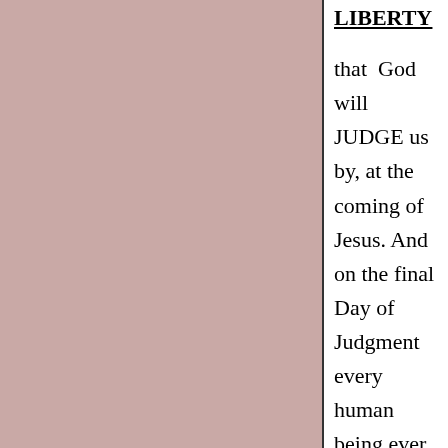LIBERTY
that God will JUDGE us by, at the coming of Jesus. And on the final Day of Judgment every human being ever born will